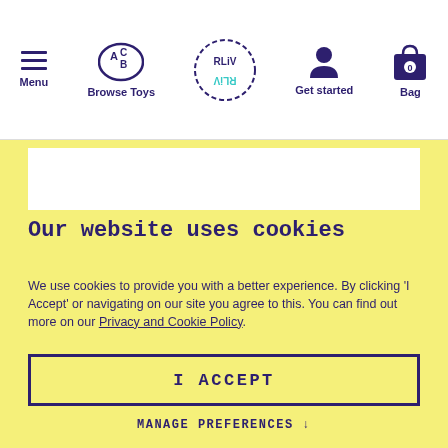Menu | Browse Toys | [Logo] | Get started | Bag
[Figure (screenshot): Website navigation bar with Menu, Browse Toys, Logo, Get started, and Bag icons]
Our website uses cookies
We use cookies to provide you with a better experience. By clicking ‘I Accept’ or navigating on our site you agree to this. You can find out more on our Privacy and Cookie Policy.
I ACCEPT
MANAGE PREFERENCES ↓